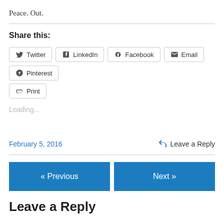Peace. Out.
Share this:
Twitter  LinkedIn  Facebook  Email  Pinterest  Print
Loading...
February 5, 2016
Leave a Reply
« Previous
Next »
Leave a Reply